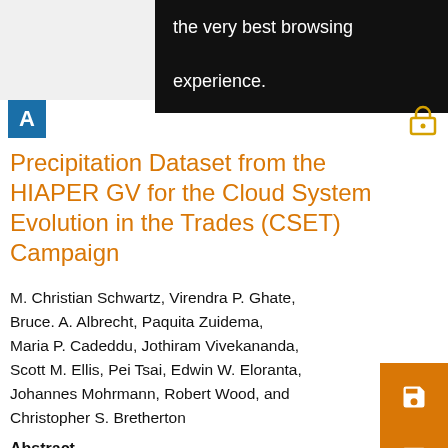the very best browsing experience.
Precipitation Dataset from the HIAPER GV for the Cloud System Evolution in the Trades (CSET) Campaign
M. Christian Schwartz, Virendra P. Ghate, Bruce. A. Albrecht, Paquita Zuidema, Maria P. Cadeddu, Jothiram Vivekananda, Scott M. Ellis, Pei Tsai, Edwin W. Eloranta, Johannes Mohrmann, Robert Wood, and Christopher S. Bretherton
Abstract